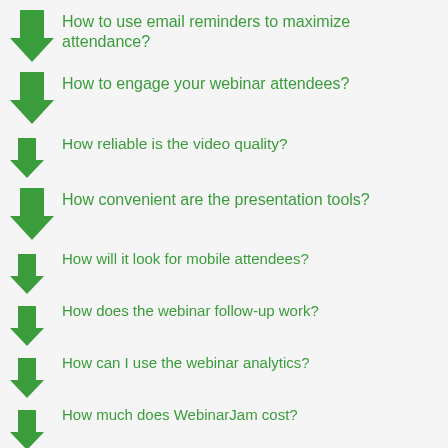How to use email reminders to maximize attendance?
How to engage your webinar attendees?
How reliable is the video quality?
How convenient are the presentation tools?
How will it look for mobile attendees?
How does the webinar follow-up work?
How can I use the webinar analytics?
How much does WebinarJam cost?